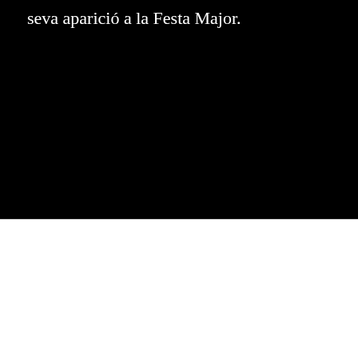seva aparició a la Festa Major.
[Figure (photo): Black background area, likely a video or image that is not visible]
We use cookies on our website to give you the most relevant experience by remembering your preferences and repeat visits. By clicking “Accept”, you consent to the use of ALL the cookies.
Cookie settings
ACCEPT